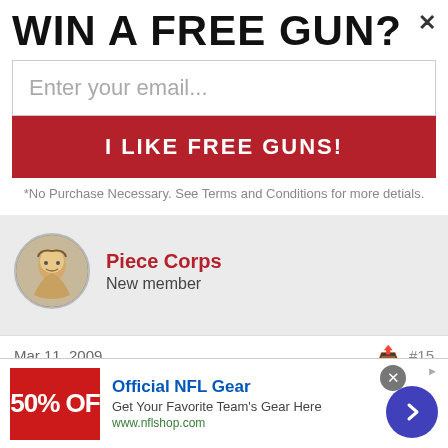WIN A FREE GUN?
Enter your email...
I LIKE FREE GUNS!
*No Purchase Necessary. See Terms and Conditions for more detials.
Piece Corps
New member
Mar 11, 2009	#15
HK4U said:
Where was that 58% on election day?
[Figure (infographic): NFL ad banner: 50% OFF with NFL logo, Official NFL Gear, Get Your Favorite Team's Gear Here, www.nflshop.com]